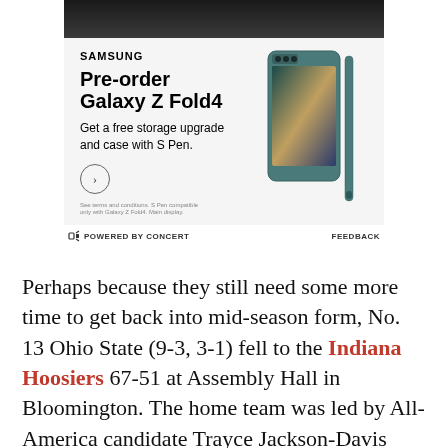[Figure (photo): Samsung advertisement for Galaxy Z Fold4. Shows 'Pre-order Galaxy Z Fold4 – Get a free storage upgrade and case with S Pen.' with phone product image. Powered by Concert | Feedback.]
Perhaps because they still need some more time to get back into mid-season form, No. 13 Ohio State (9-3, 3-1) fell to the Indiana Hoosiers 67-51 at Assembly Hall in Bloomington. The home team was led by All-America candidate Trayce Jackson-Davis who put up 27 points on 11-17 (64.7%) shooting.